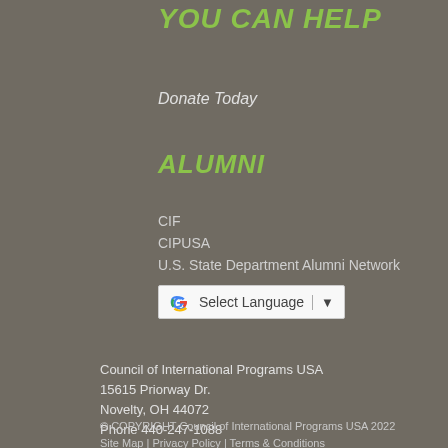YOU CAN HELP
Donate Today
ALUMNI
CIF
CIPUSA
U.S. State Department Alumni Network
[Figure (other): Google Translate Select Language widget]
Council of International Programs USA
15615 Priorway Dr.
Novelty, OH 44072
Phone 440-247-1088
© COPYRIGHT Council of International Programs USA 2022
Site Map | Privacy Policy | Terms & Conditions
Custom Web Design Services by INSYTE eCommerce